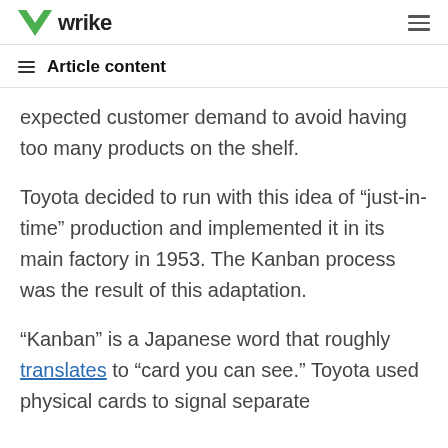wrike
Article content
expected customer demand to avoid having too many products on the shelf.
Toyota decided to run with this idea of “just-in-time” production and implemented it in its main factory in 1953. The Kanban process was the result of this adaptation.
“Kanban” is a Japanese word that roughly translates to “card you can see.” Toyota used physical cards to signal separate